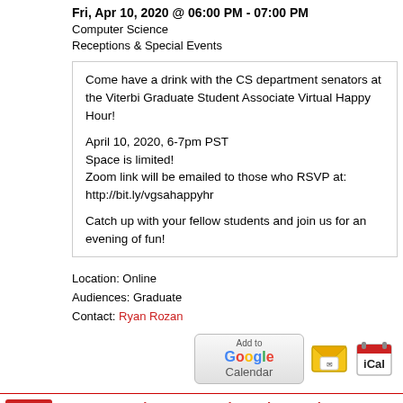Fri, Apr 10, 2020 @ 06:00 PM - 07:00 PM
Computer Science
Receptions & Special Events
Come have a drink with the CS department senators at the Viterbi Graduate Student Associate Virtual Happy Hour!

April 10, 2020, 6-7pm PST
Space is limited!
Zoom link will be emailed to those who RSVP at:
http://bit.ly/vgsahappyhr

Catch up with your fellow students and join us for an evening of fun!
Location: Online
Audiences: Graduate
Contact: Ryan Rozan
[Figure (screenshot): Add to Google Calendar button, email/calendar icon buttons]
Computer Science General Faculty Meeting
Wed, Apr 15, 2020 @ 12:00 PM - 02:00 PM
Computer Science